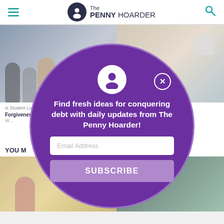The Penny Hoarder
[Figure (screenshot): Background website content showing two article thumbnail images on top, article text snippets about student loans and mortgage, a 'YOU MAY' section header, and two more article thumbnails at the bottom.]
[Figure (infographic): Purple circular modal popup with The Penny Hoarder avatar icon, close button (X), headline text, email address input field, and a SUBSCRIBE button.]
Find fresh ideas for conquering debt with daily updates from The Penny Hoarder!
Email Address
SUBSCRIBE